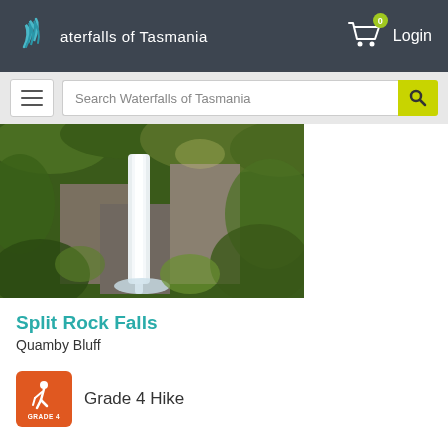Waterfalls of Tasmania
Login
Search Waterfalls of Tasmania
[Figure (photo): Photograph of Split Rock Falls waterfall in a lush green forest with moss-covered rocks]
Split Rock Falls
Quamby Bluff
[Figure (illustration): Orange icon showing a hiker silhouette, labeled GRADE 4]
Grade 4 Hike